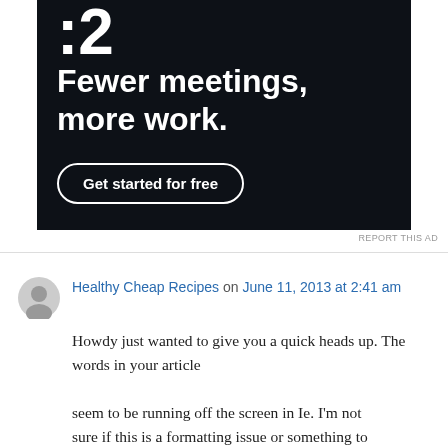[Figure (screenshot): Advertisement banner with dark background showing ':2' number, tagline 'Fewer meetings, more work.' and a 'Get started for free' button]
REPORT THIS AD
Healthy Cheap Recipes on June 11, 2013 at 2:41 am
Howdy just wanted to give you a quick heads up. The words in your article seem to be running off the screen in Ie. I'm not sure if this is a formatting issue or something to do with browser compatibility but I thought I'd